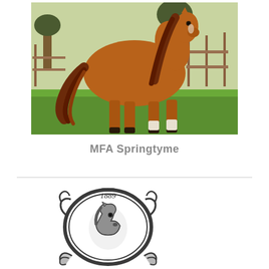[Figure (photo): A chestnut/sorrel horse with a long flowing mane and tail, standing in profile on green grass, with trees and a fence visible in the background.]
MFA Springtyme
[Figure (logo): An ornate oval/circular emblem or medallion dated 1889, with decorative scrollwork, featuring what appears to be a horse head portrait in the center, rendered in black and white illustration style.]